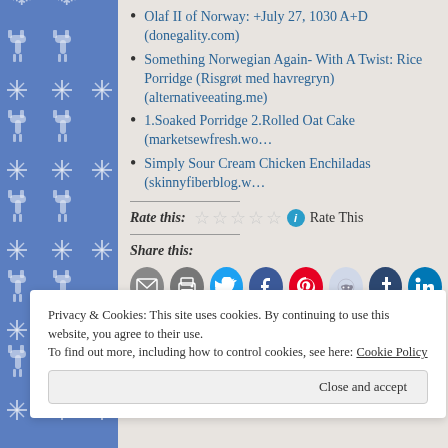Olaf II of Norway: +July 27, 1030 A+D (donegality.com)
Something Norwegian Again- With A Twist: Rice Porridge (Risgrøt med havregryn) (alternativeeating.me)
1.Soaked Porridge 2.Rolled Oat Cake (marketsewfresh.wo…)
Simply Sour Cream Chicken Enchiladas (skinnyfiberblog.w…)
Rate this: ★★★★★ ⓘ Rate This
Share this:
[Figure (infographic): Social share buttons: email, print, Twitter, Facebook, Pinterest, Reddit, Tumblr, LinkedIn]
Like
2 bloggers like this.
Privacy & Cookies: This site uses cookies. By continuing to use this website, you agree to their use. To find out more, including how to control cookies, see here: Cookie Policy
Close and accept